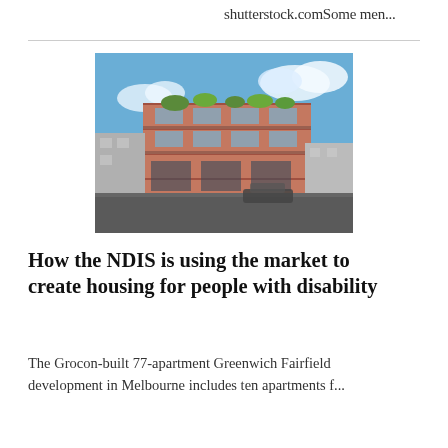shutterstock.comSome men...
[Figure (photo): Exterior photo of a modern multi-storey apartment building with brick facade, green rooftop plants, and blue sky with clouds behind it. Cars visible at street level.]
How the NDIS is using the market to create housing for people with disability
The Grocon-built 77-apartment Greenwich Fairfield development in Melbourne includes ten apartments f...
[Figure (photo): A small white fluffy cat or kitten photographed from above against a white background, reaching upward with its paws.]
ACT's new animal sentience law